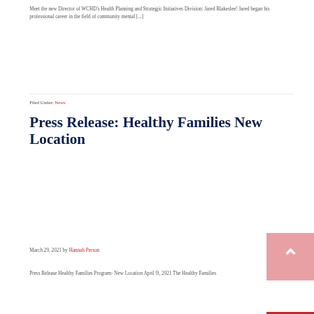Meet the new Director of WCHD's Health Planning and Strategic Initiatives Division: Jared Blakeslee! Jared began his professional career in the field of community mental [...]
Filed Under: News
Press Release: Healthy Families New Location
March 29, 2021 by Hannah Person
Press Release Healthy Families Program- New Location April 9, 2021 The Healthy Families